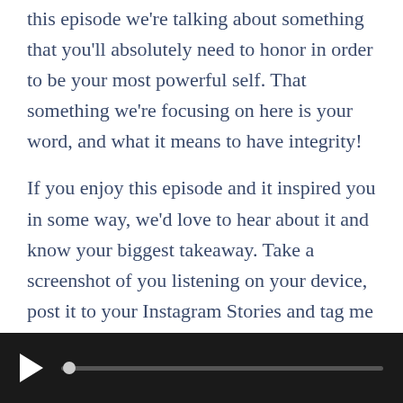this episode we're talking about something that you'll absolutely need to honor in order to be your most powerful self. That something we're focusing on here is your word, and what it means to have integrity!
If you enjoy this episode and it inspired you in some way, we'd love to hear about it and know your biggest takeaway. Take a screenshot of you listening on your device, post it to your Instagram Stories and tag me and Jilly, @jameswedmore and @jillycedeno
[Figure (other): Audio player bar with play button and progress track on dark background]